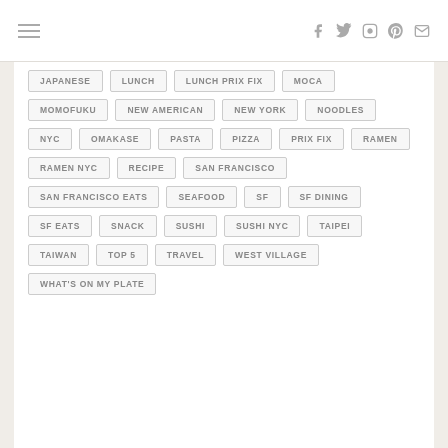navigation and social icons
JAPANESE
LUNCH
LUNCH PRIX FIX
MOCA
MOMOFUKU
NEW AMERICAN
NEW YORK
NOODLES
NYC
OMAKASE
PASTA
PIZZA
PRIX FIX
RAMEN
RAMEN NYC
RECIPE
SAN FRANCISCO
SAN FRANCISCO EATS
SEAFOOD
SF
SF DINING
SF EATS
SNACK
SUSHI
SUSHI NYC
TAIPEI
TAIWAN
TOP 5
TRAVEL
WEST VILLAGE
WHAT'S ON MY PLATE